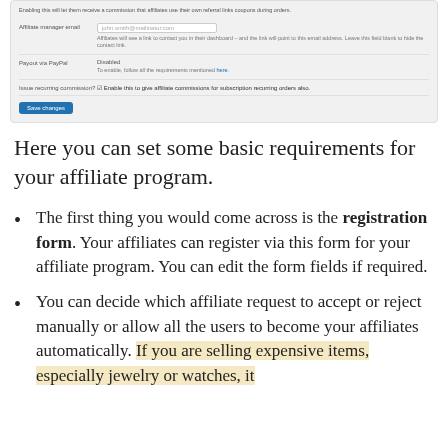[Figure (screenshot): Screenshot of a WordPress affiliate plugin settings panel showing fields: Affiliate manager email (with placeholder john.smith@mailinator.com), Payout via PayPal (Disabled, with link to enable), Issue recurring commission? (checkbox to enable affiliate commissions for subscription recurring orders also), and a Save changes button.]
Here you can set some basic requirements for your affiliate program.
The first thing you would come across is the registration form. Your affiliates can register via this form for your affiliate program. You can edit the form fields if required.
You can decide which affiliate request to accept or reject manually or allow all the users to become your affiliates automatically. If you are selling expensive items, especially jewelry or watches, it